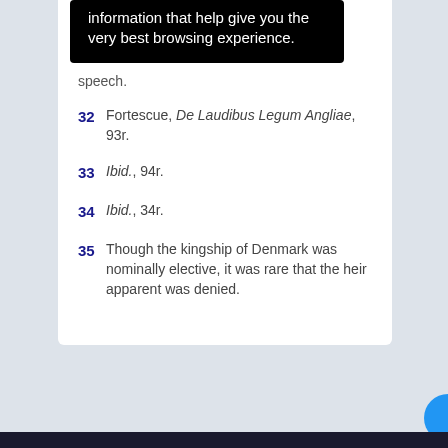[Figure (screenshot): Black tooltip box with white text: 'information that help give you the very best browsing experience.']
speech.
32  Fortescue, De Laudibus Legum Angliae, 93r.
33  Ibid., 94r.
34  Ibid., 34r.
35  Though the kingship of Denmark was nominally elective, it was rare that the heir apparent was denied.